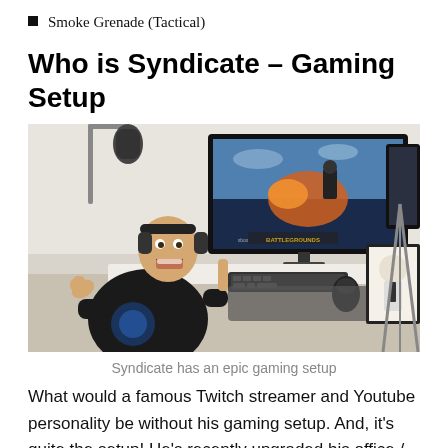Smoke Grenade (Tactical)
Who is Syndicate – Gaming Setup
[Figure (photo): A young man wearing headphones and a black t-shirt with a blue design sits at a gaming desk, pointing at a large monitor displaying PUBG (Battlegrounds). He is smiling/excited. On the desk is a keyboard, mouse, mousepad, and a framed drawing. A microphone on a boom arm is visible in the background.]
Syndicate has an epic gaming setup
What would a famous Twitch streamer and Youtube personality be without his gaming setup. And, it's quite the setup! He's recently upgraded his office / streaming